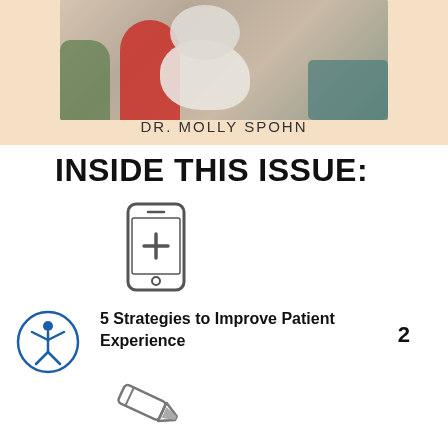[Figure (photo): Photo of Dr. Molly Spohn holding a large white fluffy dog, wearing a red top and jeans, with a plant and couch in background. Displayed on a peach/cream colored background panel.]
DR. MOLLY SPOHN
INSIDE THIS ISSUE:
[Figure (illustration): Smartphone icon with a medical cross/plus symbol on the screen, drawn in outline style.]
[Figure (illustration): Accessibility icon — person in circle with raised arms.]
5 Strategies to Improve Patient Experience   2
[Figure (illustration): Marker/highlighter pen icon drawn in outline style.]